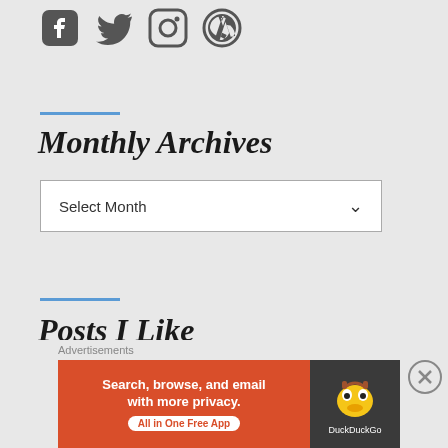[Figure (illustration): Social media icons: Facebook, Twitter, Instagram, WordPress in dark gray]
Monthly Archives
Select Month (dropdown)
Posts I Like
Advertisements
[Figure (other): DuckDuckGo advertisement banner: Search, browse, and email with more privacy. All in One Free App]